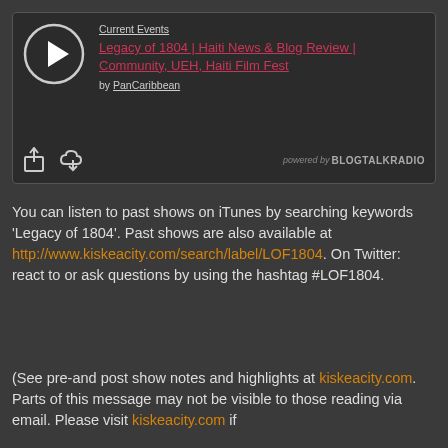[Figure (screenshot): BlogTalkRadio embedded player widget with play button, showing 'Current Events' category, show title 'Legacy of 1804 | Haiti News & Blog Review | Community, UEH, Haiti Film Fest', by PanCaribbean, with share/download icons and 'powered by BLOGTALKRADIO' branding.]
You can listen to past shows on iTunes by searching keywords 'Legacy of 1804'. Past shows are also available at http://www.kiskeacity.com/search/label/LOF1804. On Twitter: react to or ask questions by using the hashtag #LOF1804.
(See pre-and post show notes and highlights at kiskeacity.com. Parts of this message may not be visible to those reading via email. Please visit kiskeacity.com if